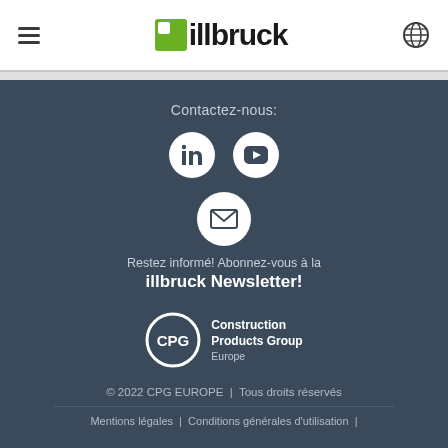[Figure (logo): illbruck logo with green square icon, hamburger menu icon on left, globe icon on right]
Contactez-nous:
[Figure (illustration): LinkedIn and YouTube social media icons (white circles on dark background)]
[Figure (illustration): Email envelope icon in white circle]
Restez informé! Abonnez-vous à la illbruck Newsletter!
[Figure (logo): CPG Construction Products Group Europe logo]
© 2022 CPG EUROPE | Tous droits réservés
Mentions légales | Conditions générales d'utilisation |